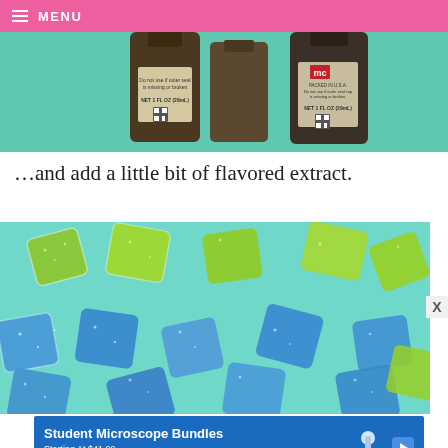MENU
[Figure (photo): Two small dark glass bottles with labels reading 'NET 1 FL OZ (29mL)' on a teal/mint green background, product shots of flavoring extract bottles]
…and add a little bit of flavored extract.
[Figure (photo): Sugar-coated gummy candy pieces in green and blue colors scattered on a teal/mint background, close-up macro photography]
[Figure (infographic): Advertisement banner: Student Microscope Bundles, Starting At $41.99, FREE SHIPPING AVAILABLE, with microscope illustration]